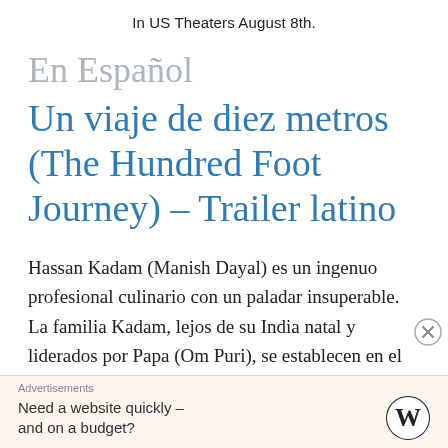In US Theaters August 8th.
En Español
Un viaje de diez metros (The Hundred Foot Journey) – Trailer latino
Hassan Kadam (Manish Dayal) es un ingenuo profesional culinario con un paladar insuperable. La familia Kadam, lejos de su India natal y liderados por Papa (Om Puri), se establecen en el pequeño pueblo
Advertisements
Need a website quickly – and on a budget?